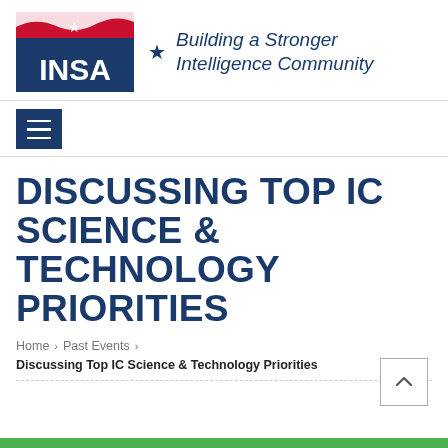[Figure (logo): INSA logo with red and blue flag design and star, alongside tagline 'Building a Stronger Intelligence Community']
[Figure (other): Hamburger menu button (three horizontal lines) in navy blue]
DISCUSSING TOP IC SCIENCE & TECHNOLOGY PRIORITIES
Home > Past Events > Discussing Top IC Science & Technology Priorities